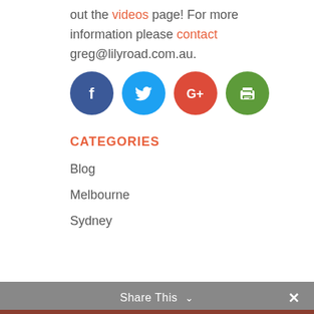out the videos page! For more information please contact greg@lilyroad.com.au.
[Figure (infographic): Four circular social media icons: Facebook (dark blue), Twitter (light blue), Google+ (red), Print (green)]
CATEGORIES
Blog
Melbourne
Sydney
Share This ∨  ✕